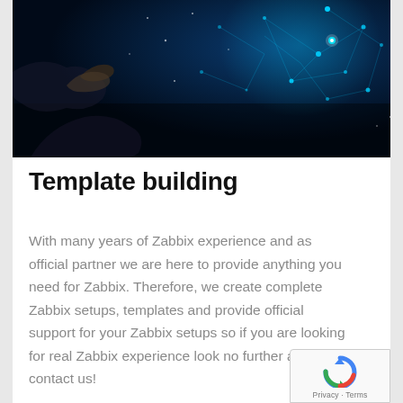[Figure (photo): Dark technology photo showing hands reaching toward a glowing digital network visualization with blue light nodes and connections on a dark background]
Template building
With many years of Zabbix experience and as official partner we are here to provide anything you need for Zabbix. Therefore, we create complete Zabbix setups, templates and provide official support for your Zabbix setups so if you are looking for real Zabbix experience look no further and contact us!